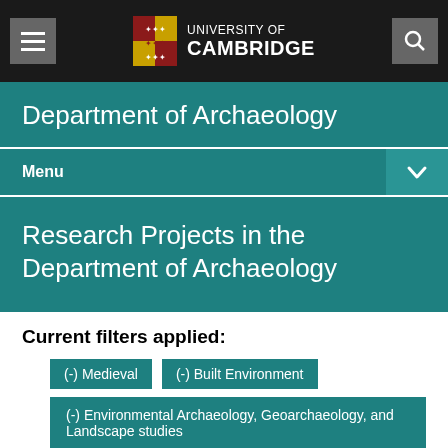UNIVERSITY OF CAMBRIDGE
Department of Archaeology
Menu
Research Projects in the Department of Archaeology
Current filters applied:
(-) Medieval
(-) Built Environment
(-) Environmental Archaeology, Geoarchaeology, and Landscape studies